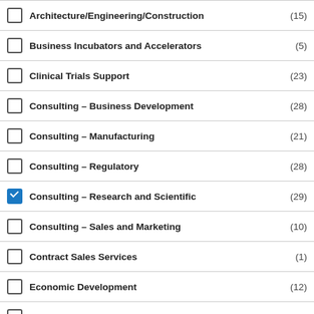Architecture/Engineering/Construction (15)
Business Incubators and Accelerators (5)
Clinical Trials Support (23)
Consulting – Business Development (28)
Consulting – Manufacturing (21)
Consulting – Regulatory (28)
Consulting – Research and Scientific (29)
Consulting – Sales and Marketing (10)
Contract Sales Services (1)
Economic Development (12)
Education and Training (19)
Equipment - Lab (18)
Equipment - Manufacturing (9)
Equipment - Used (1)